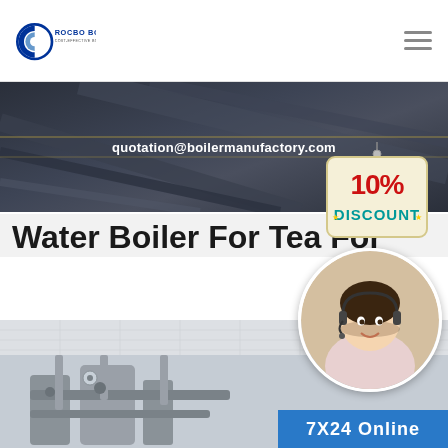[Figure (logo): Rocbo Boiler logo with circular C-shaped emblem in blue and text 'ROCBO BOILER' in dark blue, subtitle 'COST-EFFECTIVE BOILER SUPPLIER']
[Figure (illustration): Dark industrial banner background with diagonal lines and piping elements, overlaid with email address quotation@boilermanufactory.com in white bold text]
quotation@boilermanufactory.com
[Figure (infographic): 10% DISCOUNT badge/sticker with red text '10%' and teal/blue 'DISCOUNT' text, hanging sign style]
Water Boiler For Tea For
[Figure (photo): Customer service representative woman with headset smiling, with another agent visible in background]
[Figure (photo): Industrial boiler equipment in a factory/plant setting]
7X24 Online